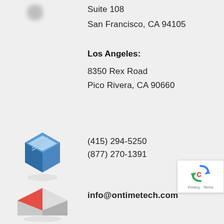[Figure (illustration): Blurred location pin icon at top left]
Suite 108
San Francisco, CA 94105
Los Angeles:
8350 Rex Road
Pico Rivera, CA 90660
[Figure (illustration): Isometric blue smartphone/tablet icon]
(415) 294-5250
(877) 270-1391
[Figure (illustration): reCAPTCHA badge with Privacy and Terms links]
[Figure (illustration): Isometric grey and red envelope/email icon]
info@ontimetech.com